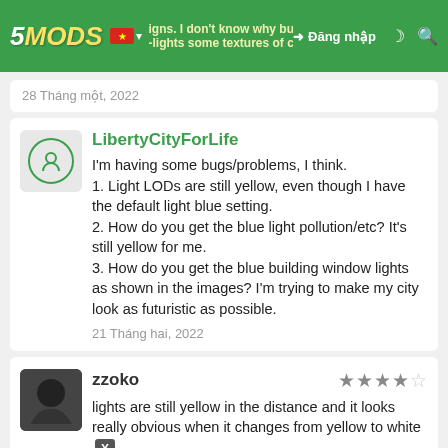5MODS - signs. I don't know why but I think because it over-lights some textures of certain areas. | Đăng nhập
28 Tháng một, 2022
LibertyCityForLife
I'm having some bugs/problems, I think.
1. Light LODs are still yellow, even though I have the default light blue setting.
2. How do you get the blue light pollution/etc? It's still yellow for me.
3. How do you get the blue building window lights as shown in the images? I'm trying to make my city look as futuristic as possible.
21 Tháng hai, 2022
zzoko ★★★★☆
lights are still yellow in the distance and it looks really obvious when it changes from yellow to white
27 Tháng hai, 2022